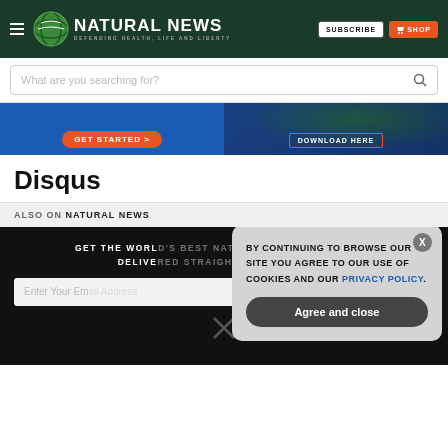NATURAL NEWS — DEFENDING HEALTH, LIFE AND LIBERTY
What are you searching for?
[Figure (screenshot): Two promotional banners: left blue banner with GET STARTED > orange button, right dark blue banner with globe image and DOWNLOAD HERE button]
Disqus
ALSO ON NATURAL NEWS
GET THE WORLD'S BEST NATURAL HEALTH NEWSLETTER DELIVERED STRAIGHT TO YOUR INBOX
Enter Your Email Address
[Figure (screenshot): Cookie consent popup overlay: BY CONTINUING TO BROWSE OUR SITE YOU AGREE TO OUR USE OF COOKIES AND OUR PRIVACY POLICY. with Agree and close button and X dismiss button]